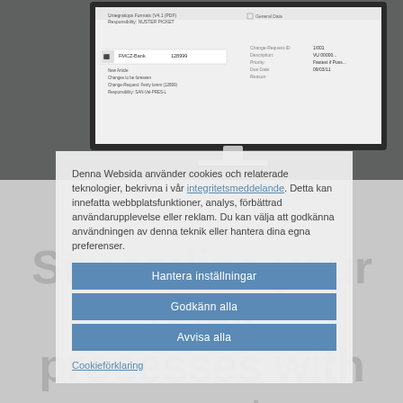[Figure (screenshot): A computer monitor screenshot showing a software interface with file/document management UI elements, displayed on a dark background monitor.]
Streamline your retail processes with smart master data governance
Denna Websida använder cookies och relaterade teknologier, bekrivna i vår integritetsmeddelande. Detta kan innefatta webbplatsfunktioner, analys, förbättrad användarupplevelse eller reklam. Du kan välja att godkänna användningen av denna teknik eller hantera dina egna preferenser.
Hantera inställningar
Godkänn alla
Avvisa alla
Cookieförklaring